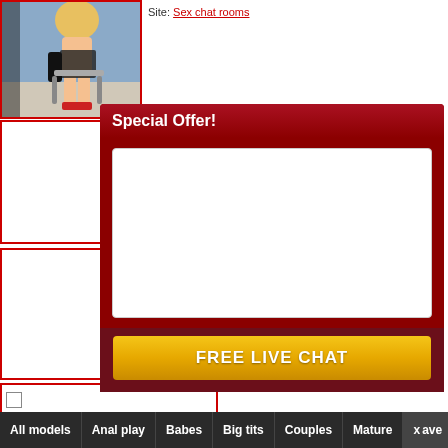[Figure (photo): Thumbnail photo of a blonde woman in a room with blue wall background, bordered in red]
Site: Sex chat rooms
[Figure (other): Empty white bordered box (ad placeholder)]
[Figure (other): Empty white bordered box (ad placeholder)]
Special Offer!
[Figure (other): White content box inside Special Offer modal]
FREE LIVE CHAT
All models  Anal play  Babes  Big tits  Couples  Mature  x ave